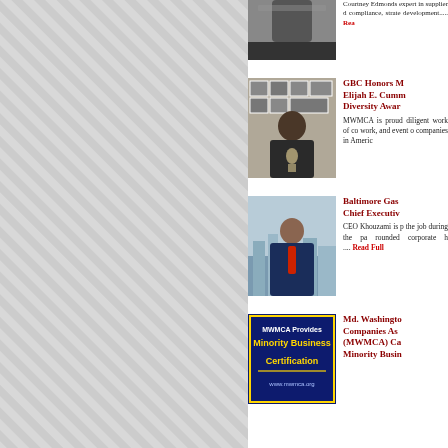[Figure (photo): Portrait of a man in a suit, partial/top cropped]
Courtney Edmonds expert in supplier d compliance, strate development..... Read
[Figure (photo): Man in dark suit holding award trophy, standing in front of framed photos on wall]
GBC Honors M Elijah E. Cumm Diversity Awar
MWMCA is proud diligent work of co work, and event o companies in Americ
[Figure (photo): Man in navy suit with red tie, city skyline in background]
Baltimore Gas Chief Executiv
CEO Khouzami is p the job during the pa rounded corporate h .... Read Full
[Figure (other): MWMCA Provides Minority Business Certification logo/badge with dark blue and yellow text]
Md. Washingto Companies As (MWMCA) Ca Minority Busin